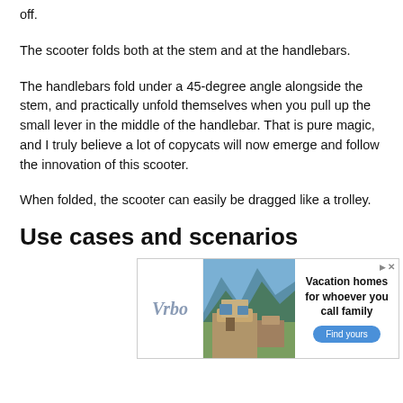off.
The scooter folds both at the stem and at the handlebars.
The handlebars fold under a 45-degree angle alongside the stem, and practically unfold themselves when you pull up the small lever in the middle of the handlebar. That is pure magic, and I truly believe a lot of copycats will now emerge and follow the innovation of this scooter.
When folded, the scooter can easily be dragged like a trolley.
Use cases and scenarios
[Figure (other): Vrbo advertisement banner showing a vacation home with mountain background. Text reads: Vacation homes for whoever you call family. Find yours button.]